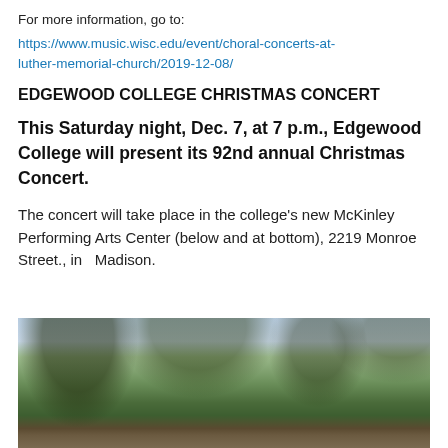For more information, go to:
https://www.music.wisc.edu/event/choral-concerts-at-luther-memorial-church/2019-12-08/
EDGEWOOD COLLEGE CHRISTMAS CONCERT
This Saturday night, Dec. 7, at 7 p.m., Edgewood College will present its 92nd annual Christmas Concert.
The concert will take place in the college's new McKinley Performing Arts Center (below and at bottom), 2219 Monroe Street., in  Madison.
[Figure (photo): Exterior photo of the McKinley Performing Arts Center at Edgewood College, showing trees in the foreground and the building behind them against a light sky.]